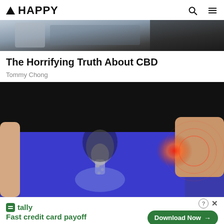▲ HAPPY
[Figure (photo): Partial top portion of an article image showing a person with accessories, cropped]
The Horrifying Truth About CBD
Tommy Chong
[Figure (photo): Medical illustration of hip/pelvis joint pain shown on a person wearing purple pants and black shirt, with red pain indicator and ripple effects on the right hip area]
tally Fast credit card payoff  Download Now →